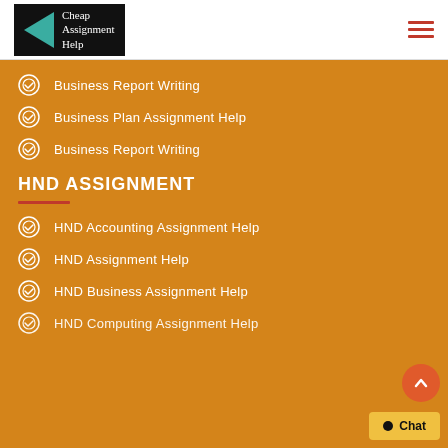[Figure (logo): Cheap Assignment Help logo with teal triangle and white text on black background]
Business Report Writing
Business Plan Assignment Help
Business Report Writing
HND ASSIGNMENT
HND Accounting Assignment Help
HND Assignment Help
HND Business Assignment Help
HND Computing Assignment Help